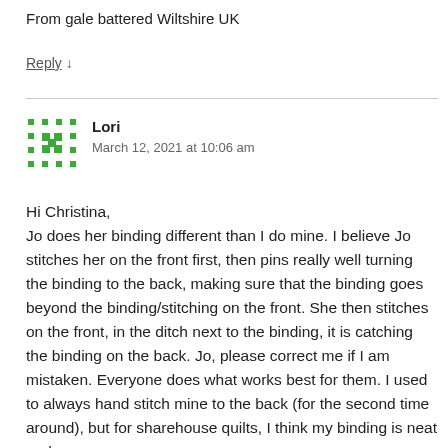From gale battered Wiltshire UK
Reply ↓
Lori
March 12, 2021 at 10:06 am
Hi Christina,
Jo does her binding different than I do mine. I believe Jo stitches her on the front first, then pins really well turning the binding to the back, making sure that the binding goes beyond the binding/stitching on the front. She then stitches on the front, in the ditch next to the binding, it is catching the binding on the back. Jo, please correct me if I am mistaken. Everyone does what works best for them. I used to always hand stitch mine to the back (for the second time around), but for sharehouse quilts, I think my binding is neat and very